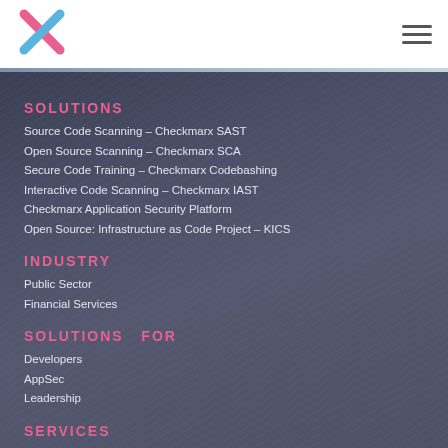[Figure (logo): Checkmarx X logo in pink and blue]
SOLUTIONS
Source Code Scanning – Checkmarx SAST
Open Source Scanning – Checkmarx SCA
Secure Code Training – Checkmarx Codebashing
Interactive Code Scanning – Checkmarx IAST
Checkmarx Application Security Platform
Open Source: Infrastructure as Code Project – KICS
INDUSTRY
Public Sector
Financial Services
SOLUTIONS  FOR
Developers
AppSec
Leadership
SERVICES
AppSec Services